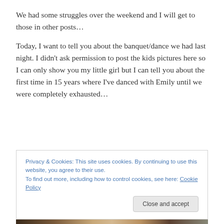We had some struggles over the weekend and I will get to those in other posts…
Today, I want to tell you about the banquet/dance we had last night. I didn't ask permission to post the kids pictures here so I can only show you my little girl but I can tell you about the first time in 15 years where I've danced with Emily until we were completely exhausted…
Privacy & Cookies: This site uses cookies. By continuing to use this website, you agree to their use.
To find out more, including how to control cookies, see here: Cookie Policy
Close and accept
[Figure (photo): Bottom strip showing a partial photo of a person, dark tones]